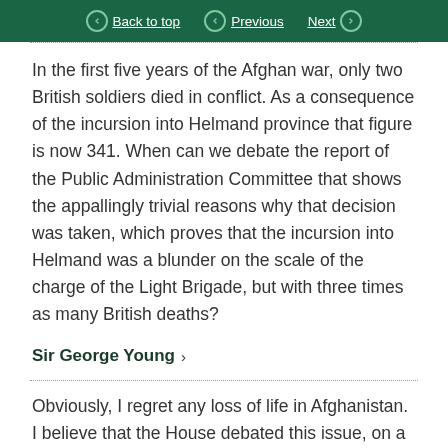Back to top | Previous | Next
In the first five years of the Afghan war, only two British soldiers died in conflict. As a consequence of the incursion into Helmand province that figure is now 341. When can we debate the report of the Public Administration Committee that shows the appallingly trivial reasons why that decision was taken, which proves that the incursion into Helmand was a blunder on the scale of the charge of the Light Brigade, but with three times as many British deaths?
Sir George Young ›
Obviously, I regret any loss of life in Afghanistan. I believe that the House debated this issue, on a